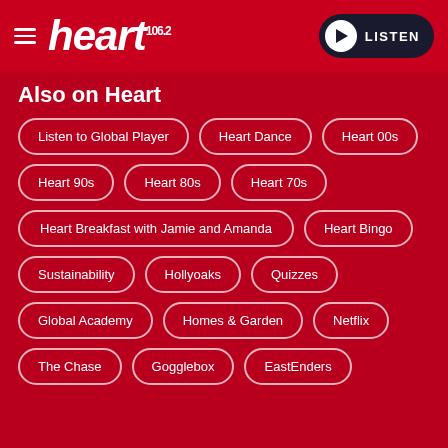heart 106.2 — LISTEN
Also on Heart
Listen to Global Player
Heart Dance
Heart 00s
Heart 90s
Heart 80s
Heart 70s
Heart Breakfast with Jamie and Amanda
Heart Bingo
Sustainability
Hollyoaks
Quizzes
Global Academy
Homes & Garden
Netflix
The Chase
Gogglebox
EastEnders